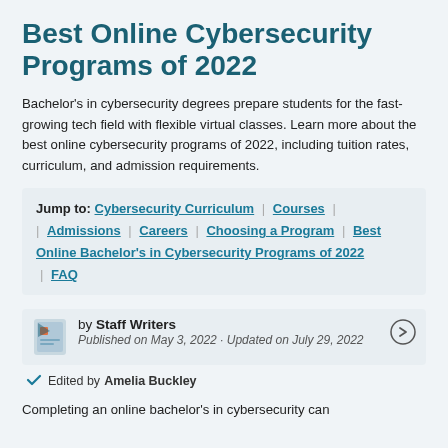Best Online Cybersecurity Programs of 2022
Bachelor's in cybersecurity degrees prepare students for the fast-growing tech field with flexible virtual classes. Learn more about the best online cybersecurity programs of 2022, including tuition rates, curriculum, and admission requirements.
Jump to: Cybersecurity Curriculum | Courses | Admissions | Careers | Choosing a Program | Best Online Bachelor's in Cybersecurity Programs of 2022 | FAQ
by Staff Writers
Published on May 3, 2022 · Updated on July 29, 2022
Edited by Amelia Buckley
Completing an online bachelor's in cybersecurity can